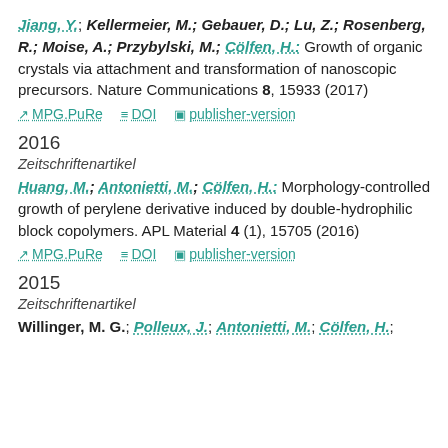Jiang, Y.; Kellermeier, M.; Gebauer, D.; Lu, Z.; Rosenberg, R.; Moise, A.; Przybylski, M.; Cölfen, H.: Growth of organic crystals via attachment and transformation of nanoscopic precursors. Nature Communications 8, 15933 (2017)
MPG.PuRe   DOI   publisher-version
2016
Zeitschriftenartikel
Huang, M.; Antonietti, M.; Cölfen, H.: Morphology-controlled growth of perylene derivative induced by double-hydrophilic block copolymers. APL Material 4 (1), 15705 (2016)
MPG.PuRe   DOI   publisher-version
2015
Zeitschriftenartikel
Willinger, M. G.; Polleux, J.; Antonietti, M.; Cölfen, H.;